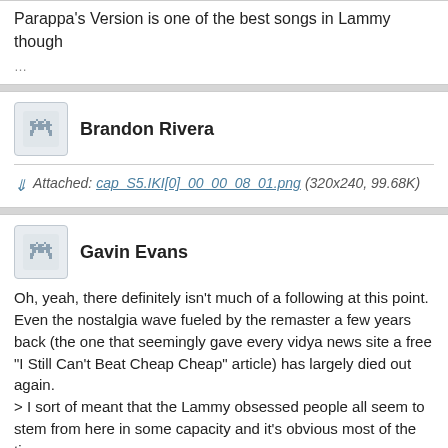Parappa's Version is one of the best songs in Lammy though
Brandon Rivera
Attached: cap_S5.IKI[0]_00_00_08_01.png (320x240, 99.68K)
Gavin Evans
Oh, yeah, there definitely isn't much of a following at this point. Even the nostalgia wave fueled by the remaster a few years back (the one that seemingly gave every vidya news site a free "I Still Can't Beat Cheap Cheap" article) has largely died out again.
> I sort of meant that the Lammy obsessed people all seem to stem from here in some capacity and it's obvious most of the time.
Sorry. Spend enough time here and you forget how to have normal conversations and that most people don't consider '*-fag' as a term of familiarity.